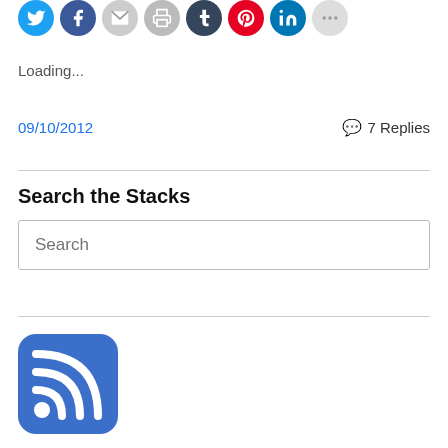[Figure (other): Row of social media sharing icon buttons (Twitter, Facebook, Email, Print, Tumblr, Pinterest, LinkedIn, and more) as colored circles]
Loading...
09/10/2012
7 Replies
Search the Stacks
[Figure (other): RSS feed icon button — blue rounded square with white WiFi/RSS wave symbol]